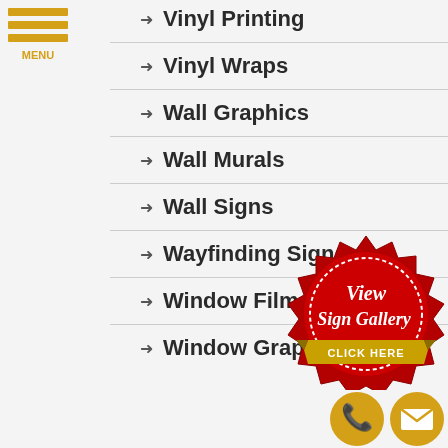MENU
Vinyl Printing
Vinyl Wraps
Wall Graphics
Wall Murals
Wall Signs
Wayfinding Signs
Window Film
Window Graphics
[Figure (illustration): Red wax seal badge with white dashed border, reading 'View Sign Gallery' in white script, with a gold ribbon banner at the bottom reading 'CLICK HERE']
[Figure (illustration): Gold circle phone icon and gold circle email/envelope icon]